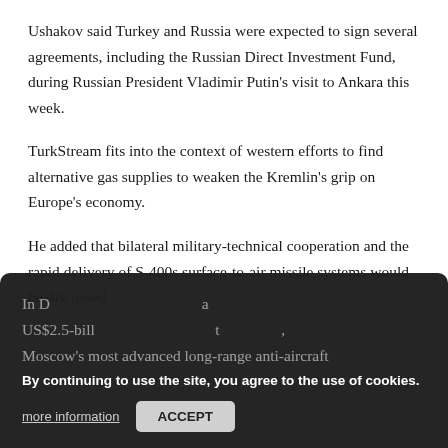Ushakov said Turkey and Russia were expected to sign several agreements, including the Russian Direct Investment Fund, during Russian President Vladimir Putin’s visit to Ankara this week.
TurkStream fits into the context of western efforts to find alternative gas supplies to weaken the Kremlin’s grip on Europe’s economy.
He added that bilateral military-technical cooperation and the rapid delivery of S-400s surface-to-air missile systems would be discussed.
In December, Turkey signed a US$2.5-billion contract to buy the S-400s, Moscow’s most advanced long-range anti-aircraft missile system. The purchase of one of...
By continuing to use the site, you agree to the use of cookies. [more information] [ACCEPT]